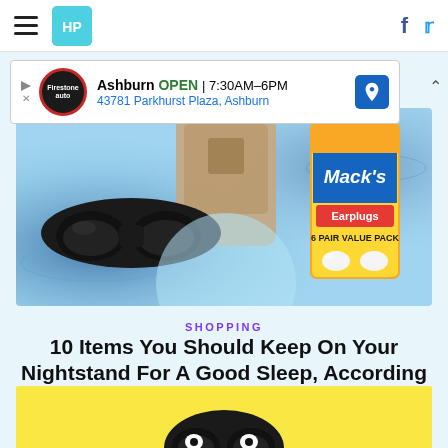HuffPost navigation with hamburger menu, logo, Facebook and Twitter icons
[Figure (screenshot): Advertisement banner: Ashburn OPEN 7:30AM-6PM, 43781 Parkhurst Plaza, Ashburn with Firestone Auto Care logo and navigation icon]
[Figure (photo): Hero image showing a black 3D sleep mask, a tan phone/tablet, and a Mack's Earplugs 6 pair value pack box, all on a blue water-textured background]
SHOPPING
10 Items You Should Keep On Your Nightstand For A Good Sleep, According to A Sleep Expert
[Figure (illustration): Bottom cropped cartoon/illustration with yellow background showing part of a character wearing a sleep mask]